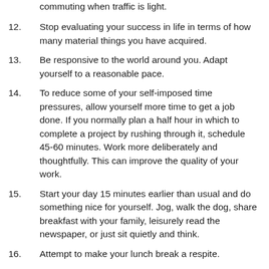commuting when traffic is light.
12. Stop evaluating your success in life in terms of how many material things you have acquired.
13. Be responsive to the world around you. Adapt yourself to a reasonable pace.
14. To reduce some of your self-imposed time pressures, allow yourself more time to get a job done. If you normally plan a half hour in which to complete a project by rushing through it, schedule 45-60 minutes. Work more deliberately and thoughtfully. This can improve the quality of your work.
15. Start your day 15 minutes earlier than usual and do something nice for yourself. Jog, walk the dog, share breakfast with your family, leisurely read the newspaper, or just sit quietly and think.
16. Attempt to make your lunch break a respite.